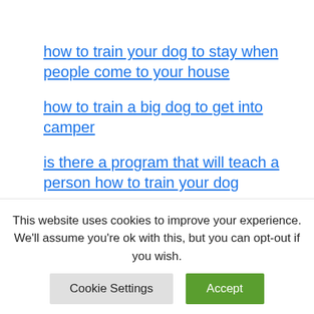how to train your dog to stay when people come to your house
how to train a big dog to get into camper
is there a program that will teach a person how to train your dog
how to train dogs step by step
how to train your dog to sleep through the night
This website uses cookies to improve your experience. We'll assume you're ok with this, but you can opt-out if you wish.
Cookie Settings  Accept